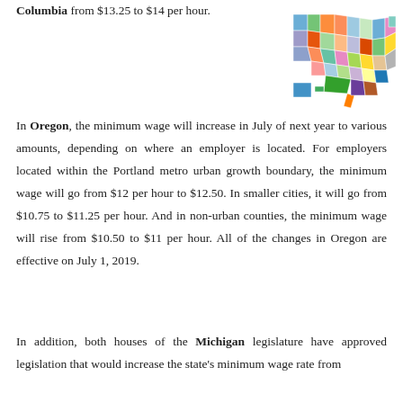Columbia from $13.25 to $14 per hour.
[Figure (map): Colorful illustrated map of the United States with each state in a different color]
In Oregon, the minimum wage will increase in July of next year to various amounts, depending on where an employer is located. For employers located within the Portland metro urban growth boundary, the minimum wage will go from $12 per hour to $12.50. In smaller cities, it will go from $10.75 to $11.25 per hour. And in non-urban counties, the minimum wage will rise from $10.50 to $11 per hour. All of the changes in Oregon are effective on July 1, 2019.
In addition, both houses of the Michigan legislature have approved legislation that would increase the state's minimum wage rate from